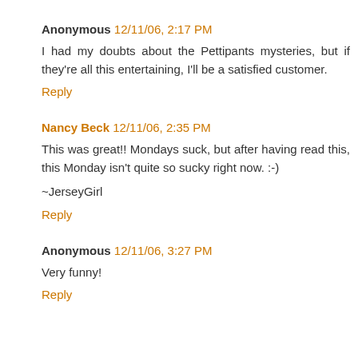Anonymous 12/11/06, 2:17 PM
I had my doubts about the Pettipants mysteries, but if they're all this entertaining, I'll be a satisfied customer.
Reply
Nancy Beck 12/11/06, 2:35 PM
This was great!! Mondays suck, but after having read this, this Monday isn't quite so sucky right now. :-)

~JerseyGirl
Reply
Anonymous 12/11/06, 3:27 PM
Very funny!
Reply